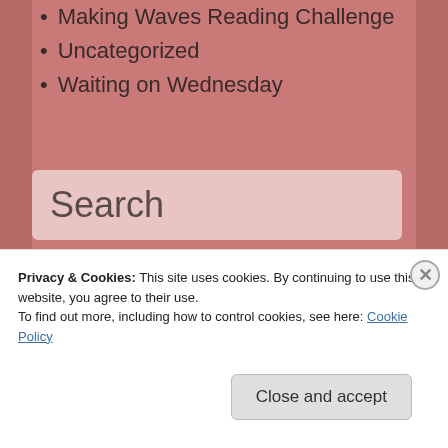Making Waves Reading Challenge
Uncategorized
Waiting on Wednesday
Search
[Figure (screenshot): Search input box with orange search button]
Inks & Scratches Literary
Privacy & Cookies: This site uses cookies. By continuing to use this website, you agree to their use. To find out more, including how to control cookies, see here: Cookie Policy
Close and accept